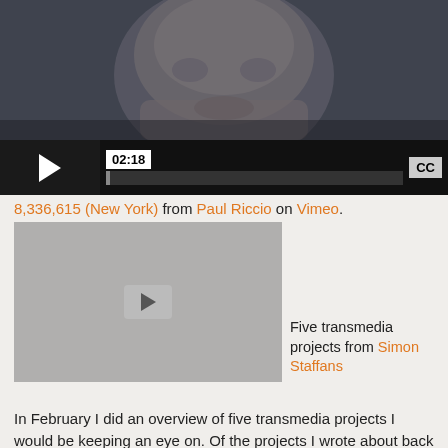[Figure (screenshot): Video player showing close-up of a person's face with playback controls, timestamp 02:18, progress bar, and CC button]
8,336,615 (New York) from Paul Riccio on Vimeo.
[Figure (screenshot): Embedded video player with gray background and play button]
Five transmedia projects from Simon Staffans
In February I did an overview of five transmedia projects I would be keeping an eye on. Of the projects I wrote about back then, Defiance opened to mixed (and some derisive)